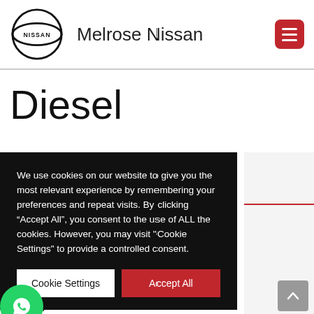[Figure (logo): Nissan logo (circular with NISSAN text) and Melrose Nissan dealership name]
Diesel
We use cookies on our website to give you the most relevant experience by remembering your preferences and repeat visits. By clicking “Accept All”, you consent to the use of ALL the cookies. However, you may visit “Cookie Settings” to provide a controlled consent.
Cookie Settings   Accept All
R839,900